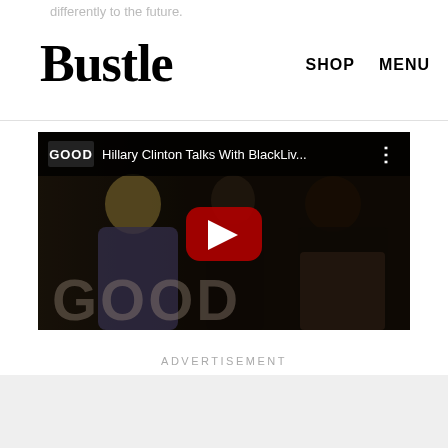differently to the future.
Bustle
SHOP   MENU
[Figure (screenshot): YouTube video embed showing GOOD channel video titled 'Hillary Clinton Talks With BlackLiv...' with a dark thumbnail showing people in conversation, YouTube play button in center, and GOOD watermark in lower left]
ADVERTISEMENT